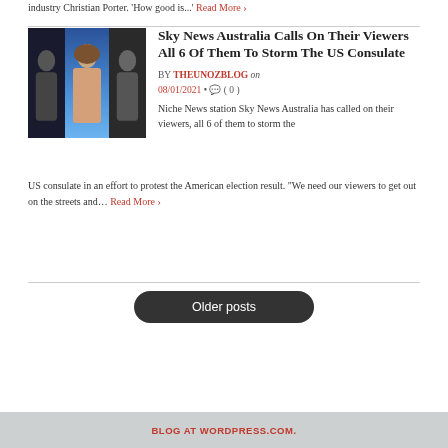industry Christian Porter. 'How good is...' Read More ›
Sky News Australia Calls On Their Viewers All 6 Of Them To Storm The US Consulate
BY THEUNOZBLOG on 08/01/2021 · ( 0 )
Niche News station Sky News Australia has called on their viewers, all 6 of them to storm the US consulate in an effort to protest the American election result. "We need our viewers to get out on the streets and… Read More ›
Older posts
BLOG AT WORDPRESS.COM.